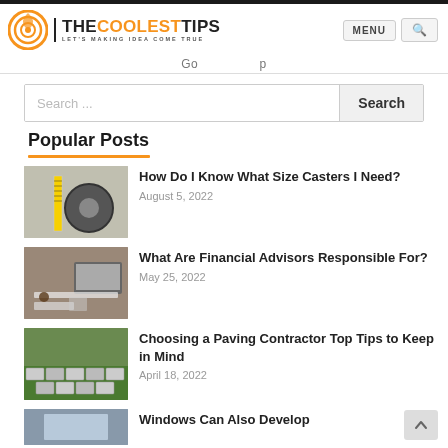THE COOLEST TIPS | LET'S MAKING IDEA COME TRUE | MENU
Go ... p
Search ... Search
Popular Posts
How Do I Know What Size Casters I Need? | August 5, 2022
What Are Financial Advisors Responsible For? | May 25, 2022
Choosing a Paving Contractor Top Tips to Keep in Mind | April 18, 2022
Windows Can Also Develop